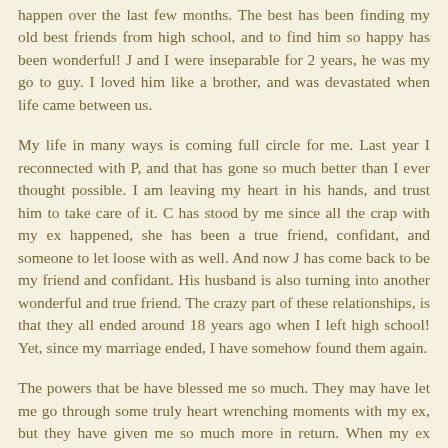happen over the last few months.  The best has been finding my old best friends from high school, and to find him so happy has been wonderful!  J and I were inseparable for 2 years, he was my go to guy.  I loved him like a brother, and was devastated when life came between us.
My life in many ways is coming full circle for me.  Last year I reconnected with P, and that has gone so much better than I ever thought possible.  I am leaving my heart in his hands, and trust him to take care of it.  C has stood by me since all the crap with my ex happened, she has been a true friend, confidant, and someone to let loose with as well.  And now J has come back to be my friend and confidant.  His husband is also turning into another wonderful and true friend.  The crazy part of these relationships, is that they all ended around 18 years ago when I left high school!  Yet, since my marriage ended, I have somehow found them again.
The powers that be have blessed me so much.  They may have let me go through some truly heart wrenching moments with my ex, but they have given me so much more in return.  When my ex came home from his business trip back in May 22, his face had a expression on it you could almost not...